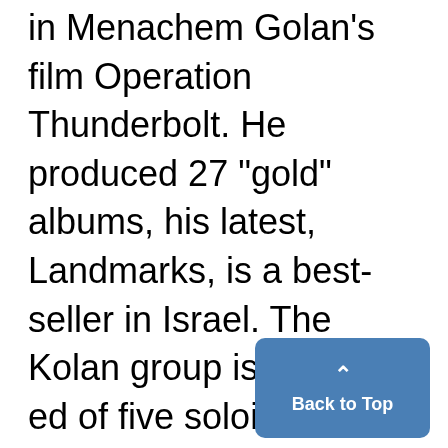in Menachem Golan's film Operation Thunderbolt. He produced 27 "gold" albums, his latest, Landmarks, is a best-seller in Israel. The Kolan group is composed of five soloists and instrumentalists. Also appearing will be Yelena Levinskaya, a former soloist with the Baku Philharmonic and the Minsk opera. The only sabra in the group is its leader Avi Shilo, a member of Israeli Games Theater...